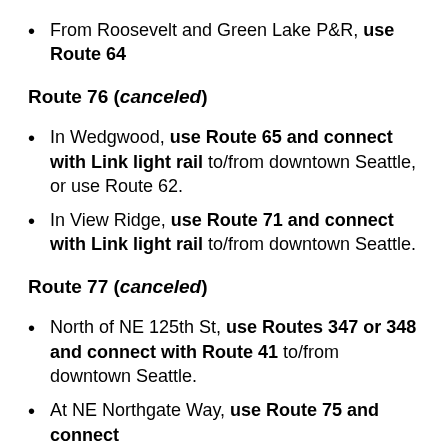From Roosevelt and Green Lake P&R, use Route 64
Route 76 (canceled)
In Wedgwood, use Route 65 and connect with Link light rail to/from downtown Seattle, or use Route 62.
In View Ridge, use Route 71 and connect with Link light rail to/from downtown Seattle.
Route 77 (canceled)
North of NE 125th St, use Routes 347 or 348 and connect with Route 41 to/from downtown Seattle.
At NE Northgate Way, use Route 75 and connect